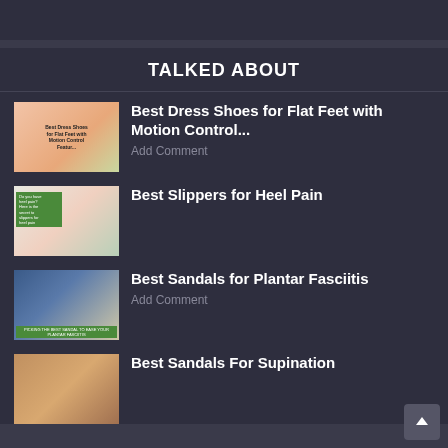TALKED ABOUT
Best Dress Shoes for Flat Feet with Motion Control...
Best Slippers for Heel Pain
Best Sandals for Plantar Fasciitis
Best Sandals For Supination